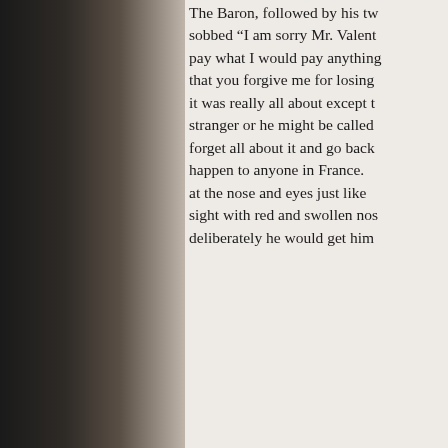[Figure (photo): Dark photograph/image on the left side of the page, showing what appears to be a person or portrait in dark tones]
The Baron, followed by his tw sobbed “I am sorry Mr. Valent pay what I would pay anything that you forgive me for losing it was really all about except t stranger or he might be called forget all about it and go back happen to anyone in France. at the nose and eyes just like sight with red and swollen nos deliberately he would get him
Share with other fans:
Twitter
Facebook
Loading...
Categories: Uncategorized |